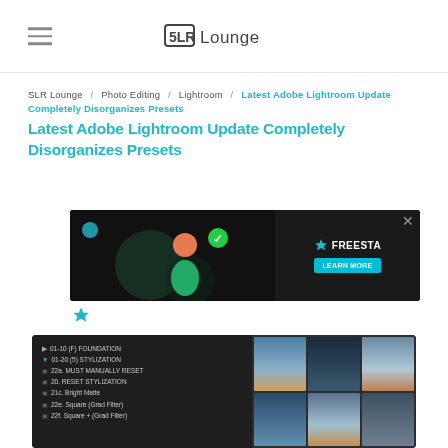SLR Lounge
SLR Lounge / Photo Editing / Lightroom / Latest Adobe Lightroom Update Completely Disorganizes Presets
Latest Adobe Lightroom Update Completely Disorganizes Presets
[Figure (screenshot): Advertisement banner: Tailored ad management solutions for every publisher — FREESTA LEARN MORE button]
[Figure (screenshot): Adobe Lightroom screenshot showing preset panel with items: 01-10 (F) FOUNDATION, 01-20 (5) STYLIZATION, 22a. MUST MANUALLY RESET, 20. RESET STYLIZATION, 21c. Bright Matte, 22e. Square (Grad Filter), 22f. Square + (Grad Filter), and thumbnail grid panel]